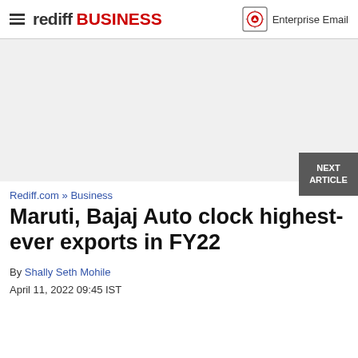rediff BUSINESS | Enterprise Email
[Figure (other): Advertisement / blank gray area placeholder]
Rediff.com » Business
Maruti, Bajaj Auto clock highest-ever exports in FY22
By Shally Seth Mohile
April 11, 2022 09:45 IST